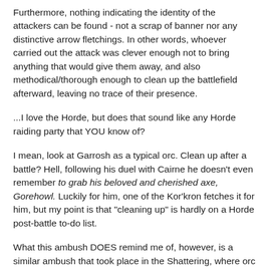Furthermore, nothing indicating the identity of the attackers can be found - not a scrap of banner nor any distinctive arrow fletchings. In other words, whoever carried out the attack was clever enough not to bring anything that would give them away, and also methodical/thorough enough to clean up the battlefield afterward, leaving no trace of their presence.
...I love the Horde, but does that sound like any Horde raiding party that YOU know of?
I mean, look at Garrosh as a typical orc. Clean up after a battle? Hell, following his duel with Cairne he doesn't even remember to grab his beloved and cherished axe, Gorehowl. Luckily for him, one of the Kor'kron fetches it for him, but my point is that "cleaning up" is hardly on a Horde post-battle to-do list.
What this ambush DOES remind me of, however, is a similar ambush that took place in the Shattering, where orc assailants interrupt a peaceful meeting between Hamuul Runetotem's tauren druids and some night elf peers. What